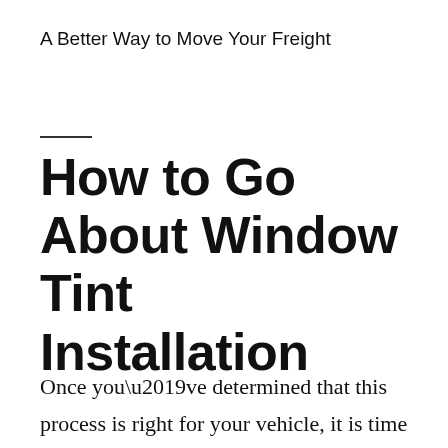A Better Way to Move Your Freight
How to Go About Window Tint Installation
Once you’ve determined that this process is right for your vehicle, it is time to prep the glass and cut the window tint. Start by